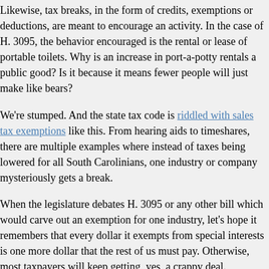Likewise, tax breaks, in the form of credits, exemptions or deductions, are meant to encourage an activity. In the case of H. 3095, the behavior encouraged is the rental or lease of portable toilets. Why is an increase in port-a-potty rentals a public good? Is it because it means fewer people will just make like bears?
We're stumped. And the state tax code is riddled with sales tax exemptions like this. From hearing aids to timeshares, there are multiple examples where instead of taxes being lowered for all South Carolinians, one industry or company mysteriously gets a break.
When the legislature debates H. 3095 or any other bill which would carve out an exemption for one industry, let's hope it remembers that every dollar it exempts from special interests is one more dollar that the rest of us must pay. Otherwise, most taxpayers will keep getting, yes, a crappy deal.